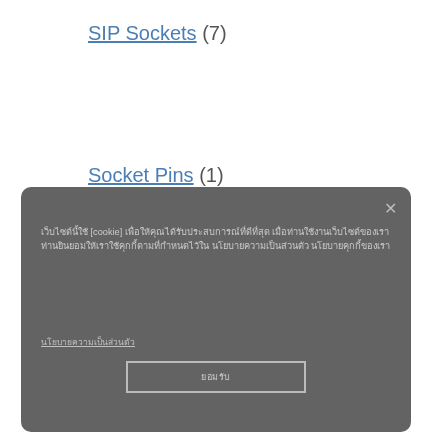SIP Sockets (7)
Socket Pins (1)
Test and Burn-in Sockets (1)
เว็บไซต์นี้ใช้ [cookie] เพื่อให้คุณได้รับประสบการณ์ที่ดีที่สุด เมื่อท่านใช้งาน เว็บไซต์ของเรา ท่านยินยอมให้เราใช้คุกกี้ตามที่กำหนดไว้ใน นโยบายความเป็นส่วนตัว นโยบายคุกกี้ของเรา
นโยบายความเป็นส่วนตัว
ยอมรับ